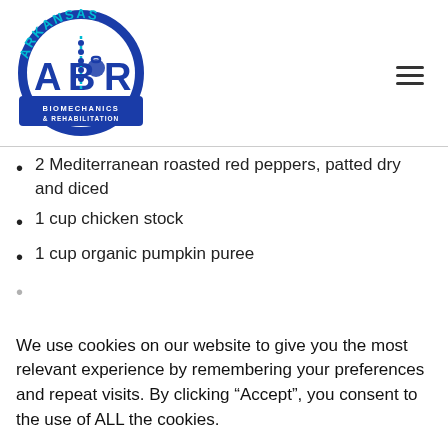[Figure (logo): Arkansas Biomechanics & Rehabilitation (ABR) logo — blue circular emblem with spine graphic, kettlebell, and text 'ARKANSAS' in cyan arc, 'BIOMECHANICS & REHABILITATION' in white on blue bar]
2 Mediterranean roasted red peppers, patted dry and diced
1 cup chicken stock
1 cup organic pumpkin puree
We use cookies on our website to give you the most relevant experience by remembering your preferences and repeat visits. By clicking “Accept”, you consent to the use of ALL the cookies.
Cookie settings  ACCEPT